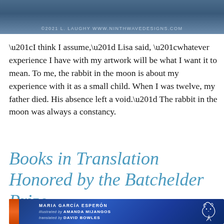[Figure (photo): Top image showing a dark blue-grey textured background (artwork/cover art) with a copyright watermark bar reading '©2021 L. LAUGHY WWW.NINTHWAVEDESIGNS.COM' in light text at the bottom]
“I think I assume,” Lisa said, “whatever experience I have with my artwork will be what I want it to mean. To me, the rabbit in the moon is about my experience with it as a small child. When I was twelve, my father died. His absence left a void.” The rabbit in the moon was always a constancy.
Books in Translation Honored by the Batchelder Prize
[Figure (photo): Book cover showing a deep blue illustrated cover with white swirling figure/rabbit design. Text reads: MARIA GARCÍA ESPERÓN / illustrated by AMANDA MIJANGOS / translated by DAVID BOWLES. An orange/red spine is visible on the left side.]